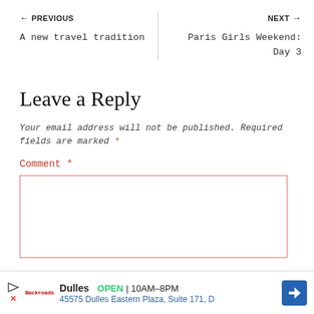← PREVIOUS
A new travel tradition
NEXT →
Paris Girls Weekend: Day 3
Leave a Reply
Your email address will not be published. Required fields are marked *
Comment *
[Figure (screenshot): Empty comment text area with red border]
Dulles OPEN | 10AM–8PM 45575 Dulles Eastern Plaza, Suite 171, D